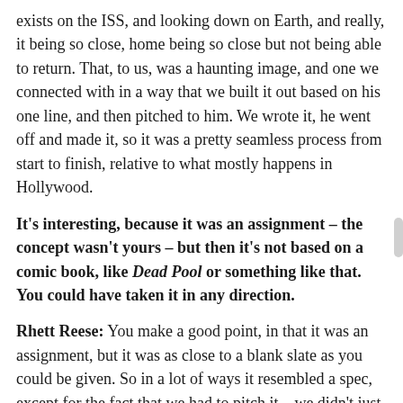exists on the ISS, and looking down on Earth, and really, it being so close, home being so close but not being able to return. That, to us, was a haunting image, and one we connected with in a way that we built it out based on his one line, and then pitched to him. We wrote it, he went off and made it, so it was a pretty seamless process from start to finish, relative to what mostly happens in Hollywood.
It's interesting, because it was an assignment – the concept wasn't yours – but then it's not based on a comic book, like Dead Pool or something like that. You could have taken it in any direction.
Rhett Reese: You make a good point, in that it was an assignment, but it was as close to a blank slate as you could be given. So in a lot of ways it resembled a spec, except for the fact that we had to pitch it – we didn't just go off and start writing it. Paul and I went away for a month or two and slowly worked out the